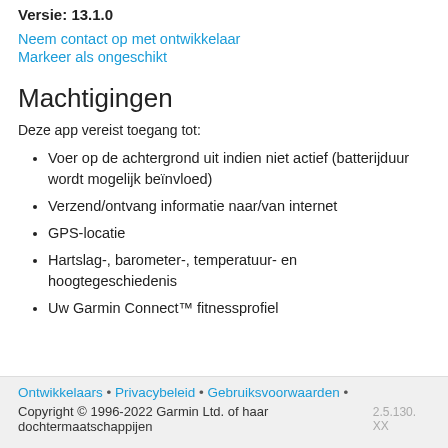Versie: 13.1.0
Neem contact op met ontwikkelaar
Markeer als ongeschikt
Machtigingen
Deze app vereist toegang tot:
Voer op de achtergrond uit indien niet actief (batterijduur wordt mogelijk beïnvloed)
Verzend/ontvang informatie naar/van internet
GPS-locatie
Hartslag-, barometer-, temperatuur- en hoogtegeschiedenis
Uw Garmin Connect™ fitnessprofiel
Ontwikkelaars • Privacybeleid • Gebruiksvoorwaarden • Copyright © 1996-2022 Garmin Ltd. of haar dochtermaatschappijen 2.5.130. XX